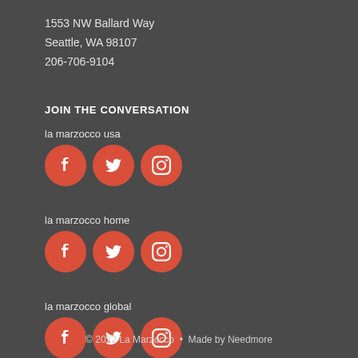1553 NW Ballard Way
Seattle, WA 98107
206-706-9104
JOIN THE CONVERSATION
la marzocco usa
[Figure (infographic): Three red circular social media icons for la marzocco usa: Facebook, Twitter, Instagram]
la marzocco home
[Figure (infographic): Three red circular social media icons for la marzocco home: Facebook, Twitter, Instagram]
la marzocco global
[Figure (infographic): Three red circular social media icons for la marzocco global: Facebook, Twitter, Instagram]
© 2022 La Marzocco  •  Made by Needmore